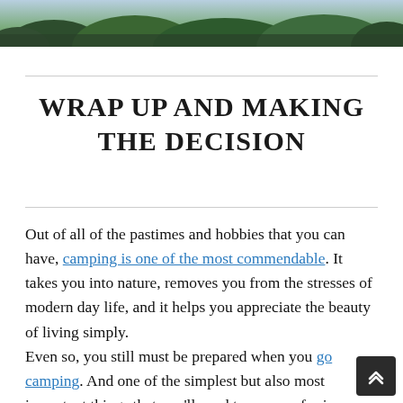[Figure (photo): Partial view of a green forested/nature scene, cropped at the top of the page]
WRAP UP AND MAKING THE DECISION
Out of all of the pastimes and hobbies that you can have, camping is one of the most commendable. It takes you into nature, removes you from the stresses of modern day life, and it helps you appreciate the beauty of living simply. Even so, you still must be prepared when you go camping. And one of the simplest but also most important things that you'll need to prepare for is